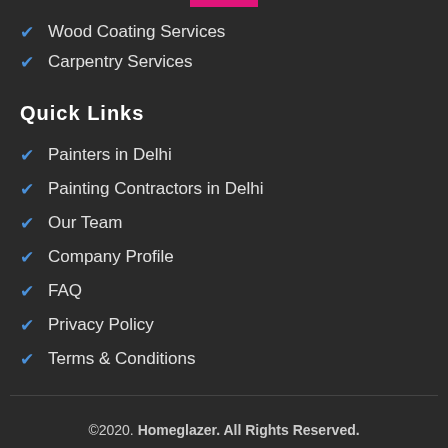Wood Coating Services
Carpentry Services
Quick Links
Painters in Delhi
Painting Contractors in Delhi
Our Team
Company Profile
FAQ
Privacy Policy
Terms & Conditions
©2020. Homeglazer. All Rights Reserved.